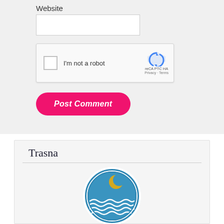Website
[Figure (screenshot): reCAPTCHA widget with checkbox labeled 'I'm not a robot' and reCAPTCHA logo with Privacy and Terms links]
Post Comment
Trasna
[Figure (logo): Circular logo with blue background showing a crescent moon over stylized ocean waves with white ring border]